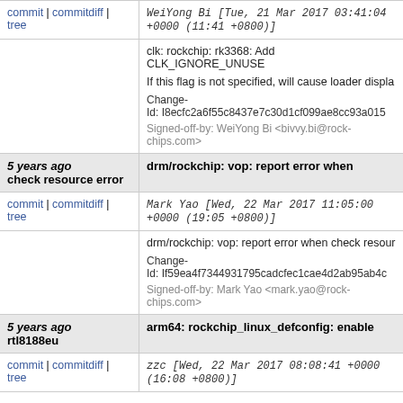commit | commitdiff | tree   WeiYong Bi [Tue, 21 Mar 2017 03:41:04 +0000 (11:41 +0800)]
clk: rockchip: rk3368: Add CLK_IGNORE_UNUSED

If this flag is not specified, will cause loader displa...

Change-Id: I8ecfc2a6f55c8437e7c30d1cf099ae8cc93a015...
Signed-off-by: WeiYong Bi <bivvy.bi@rock-chips.com>
5 years ago check resource error   drm/rockchip: vop: report error when
commit | commitdiff | tree   Mark Yao [Wed, 22 Mar 2017 11:05:00 +0000 (19:05 +0800)]
drm/rockchip: vop: report error when check resour...

Change-Id: If59ea4f7344931795cadcfec1cae4d2ab95ab4c...
Signed-off-by: Mark Yao <mark.yao@rock-chips.com>
5 years ago rtl8188eu   arm64: rockchip_linux_defconfig: enable
commit | commitdiff | tree   zzc [Wed, 22 Mar 2017 08:08:41 +0000 (16:08 +0800)]